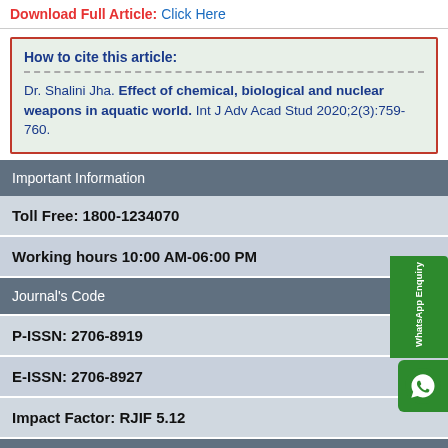Download Full Article: Click Here
How to cite this article:
Dr. Shalini Jha. Effect of chemical, biological and nuclear weapons in aquatic world. Int J Adv Acad Stud 2020;2(3):759-760.
| Important Information |
| --- |
| Toll Free: 1800-1234070 |
| Working hours 10:00 AM-06:00 PM |
| Journal's Code |
| P-ISSN: 2706-8919 |
| E-ISSN: 2706-8927 |
| Impact Factor: RJIF 5.12 |
| Author Information |